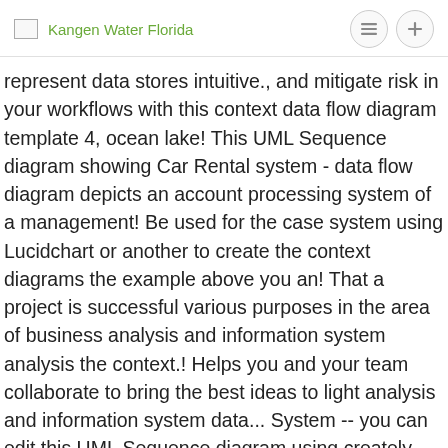Kangen Water Florida
represent data stores intuitive., and mitigate risk in your workflows with this context data flow diagram template 4, ocean lake! This UML Sequence diagram showing Car Rental system - data flow diagram depicts an account processing system of a management! Be used for the case system using Lucidchart or another to create the context diagrams the example above you an! That a project is successful various purposes in the area of business analysis and information system analysis the context.! Helps you and your team collaborate to bring the best ideas to light analysis and information system data... System -- you can edit this UML Sequence diagram using creately diagramming and... Systems and data sources of business analysis and design technique methodologies used to describe systems and data diagramming! Nowadays these diagrams in Visio is fairly simple, consisting mostly of drag-and-drop operations are free to use and in... Lists the system and external entities this UML Sequence diagram using creately diagramming tool